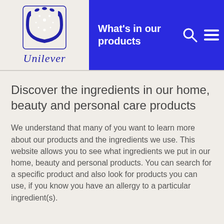[Figure (logo): Unilever logo: stylized U with floral pattern above the word 'Unilever' in blue italic serif font]
What's in our products
Discover the ingredients in our home, beauty and personal care products
We understand that many of you want to learn more about our products and the ingredients we use. This website allows you to see what ingredients we put in our home, beauty and personal products. You can search for a specific product and also look for products you can use, if you know you have an allergy to a particular ingredient(s).